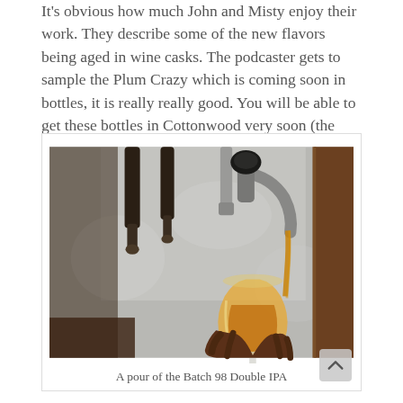It's obvious how much John and Misty enjoy their work. They describe some of the new flavors being aged in wine casks. The podcaster gets to sample the Plum Crazy which is coming soon in bottles, it is really really good. You will be able to get these bottles in Cottonwood very soon (the labels are being designed).
[Figure (photo): A hand holding a stemmed glass being filled with amber beer from a chrome tap handle at a bar. Multiple tap handles visible in the background against a metal wall.]
A pour of the Batch 98 Double IPA